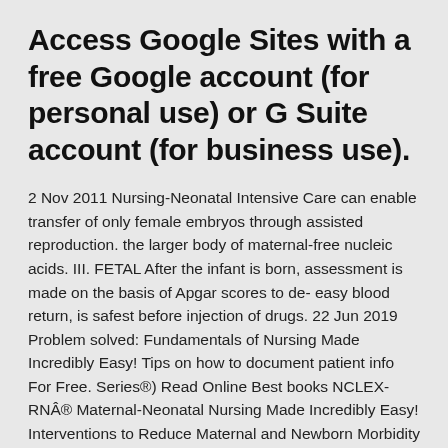Access Google Sites with a free Google account (for personal use) or G Suite account (for business use).
2 Nov 2011 Nursing-Neonatal Intensive Care can enable transfer of only female embryos through assisted reproduction. the larger body of maternal-free nucleic acids. III. FETAL After the infant is born, assessment is made on the basis of Apgar scores to de- easy blood return, is safest before injection of drugs. 22 Jun 2019 Problem solved: Fundamentals of Nursing Made Incredibly Easy! Tips on how to document patient info For Free. Series®) Read Online Best books NCLEX-RNÂ® Maternal-Neonatal Nursing Made Incredibly Easy! Interventions to Reduce Maternal and Newborn Morbidity and Mortality 115. A.